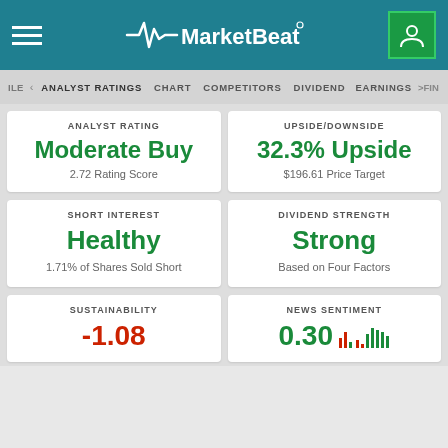MarketBeat
FILE | ANALYST RATINGS | CHART | COMPETITORS | DIVIDEND | EARNINGS | >FIN
ANALYST RATING
Moderate Buy
2.72 Rating Score
UPSIDE/DOWNSIDE
32.3% Upside
$196.61 Price Target
SHORT INTEREST
Healthy
1.71% of Shares Sold Short
DIVIDEND STRENGTH
Strong
Based on Four Factors
SUSTAINABILITY
-1.08
NEWS SENTIMENT
0.30